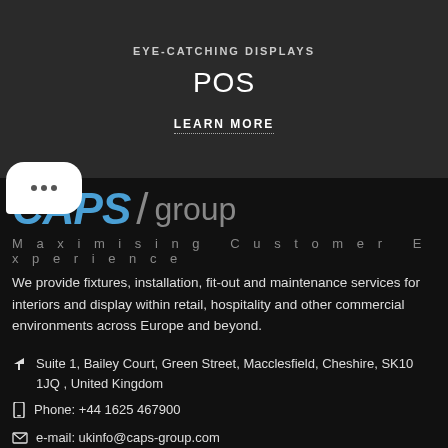EYE-CATCHING DISPLAYS
POS
LEARN MORE
[Figure (other): Chat bubble with three dots, indicating a messaging or navigation UI element]
[Figure (logo): CAPS / group logo in blue and grey on black background with tagline Maximising Customer Experience]
We provide fixtures, installation, fit-out and maintenance services for interiors and display within retail, hospitality and other commercial environments across Europe and beyond.
Suite 1, Bailey Court, Green Street, Macclesfield, Cheshire, SK10 1JQ , United Kingdom
Phone: +44 1625 467900
e-mail: ukinfo@caps-group.com